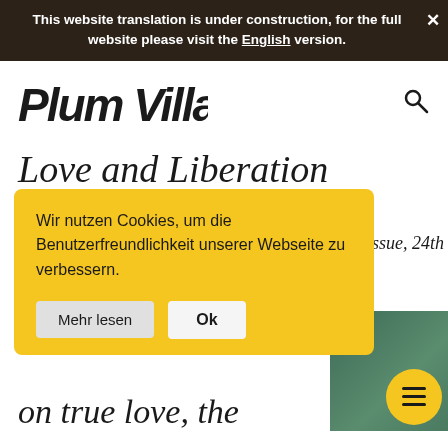This website translation is under construction, for the full website please visit the English version.
[Figure (logo): Plum Village handwritten logo in black ink]
Love and Liberation
Wir nutzen Cookies, um die Benutzerfreundlichkeit unserer Webseite zu verbessern.
issue, 24th
on true love, the
[Figure (photo): Book cover with green background and circular yellow overlay showing hamburger menu icon]